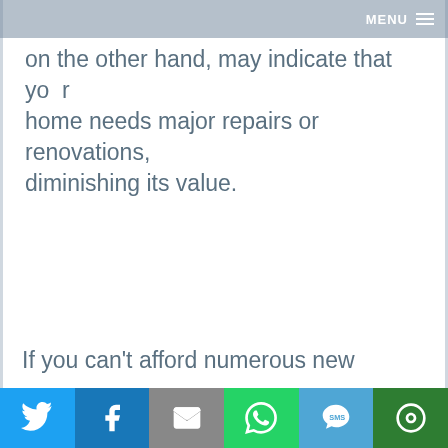MENU
on the other hand, may indicate that your home needs major repairs or renovations, diminishing its value.
If you can't afford numerous new
Social share bar: Twitter, Facebook, Email, WhatsApp, SMS, More